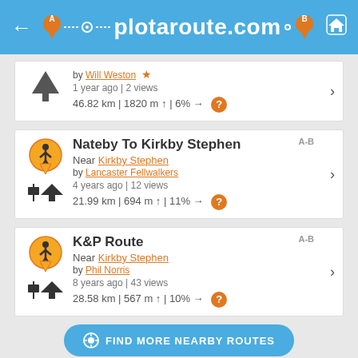plotaroute.com
by Will Weston | 1 year ago | 2 views | 46.82 km | 1820 m | 6%
Nateby To Kirkby Stephen | Near Kirkby Stephen | by Lancaster Fellwalkers | 4 years ago | 12 views | 21.99 km | 694 m | 11%
K&P Route | Near Kirkby Stephen | by Phil Norris | 8 years ago | 43 views | 28.58 km | 567 m | 10%
FIND MORE NEARBY ROUTES